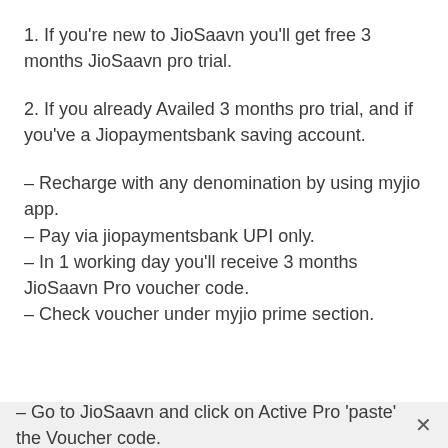1. If you're new to JioSaavn you'll get free 3 months JioSaavn pro trial.
2. If you already Availed 3 months pro trial, and if you've a Jiopaymentsbank saving account.
– Recharge with any denomination by using myjio app.
– Pay via jiopaymentsbank UPI only.
– In 1 working day you'll receive 3 months JioSaavn Pro voucher code.
– Check voucher under myjio prime section.
– Go to JioSaavn and click on Active Pro 'paste' the Voucher code.